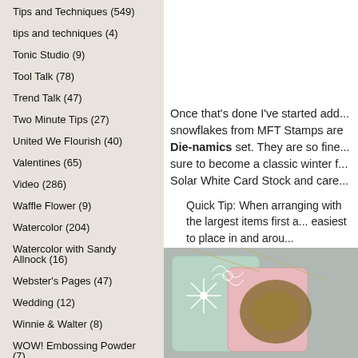Tips and Techniques (549)
tips and techniques (4)
Tonic Studio (9)
Tool Talk (78)
Trend Talk (47)
Two Minute Tips (27)
United We Flourish (40)
Valentines (65)
Video (286)
Waffle Flower (9)
Watercolor (204)
Watercolor with Sandy Allnock (16)
Webster's Pages (47)
Wedding (12)
Winnie & Walter (8)
WOW! Embossing Powder (7)
WPlus9 (23)
Zig (34)
Once that's done I've started adding snowflakes from MFT Stamps are Die-namics set. They are so fine and sure to become a classic winter f... Solar White Card Stock and care...
Quick Tip: When arranging with the largest items first a... easiest to place in and arou...
[Figure (photo): Craft photo showing decorative cards with snowflake die-cuts, pink and mint green cards with glitter and ornate white lace patterns]